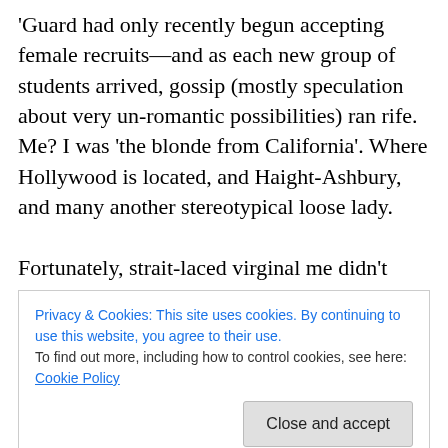'Guard had only recently begun accepting female recruits—and as each new group of students arrived, gossip (mostly speculation about very un-romantic possibilities) ran rife. Me? I was 'the blonde from California'. Where Hollywood is located, and Haight-Ashbury, and many another stereotypical loose lady.

Fortunately, strait-laced virginal me didn't know this at the time. When Jay stood up and turned around, it was my turn to be shocked: his Greek good looks were reminiscent of a previous crush. But he was much more
Privacy & Cookies: This site uses cookies. By continuing to use this website, you agree to their use.
To find out more, including how to control cookies, see here: Cookie Policy
where he wanted to be four years from now. Four years is